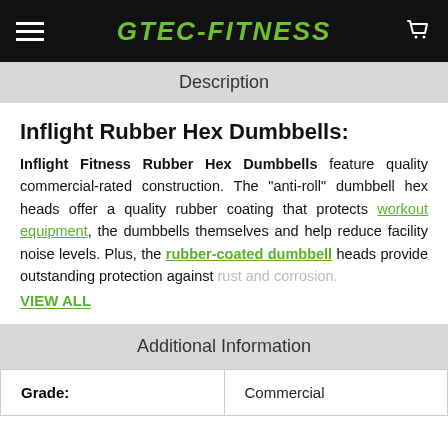GTEC-FITNESS
Description
Inflight Rubber Hex Dumbbells:
Inflight Fitness Rubber Hex Dumbbells feature quality commercial-rated construction. The "anti-roll" dumbbell hex heads offer a quality rubber coating that protects workout equipment, the dumbbells themselves and help reduce facility noise levels. Plus, the rubber-coated dumbbell heads provide outstanding protection against rust and corrosion.
VIEW ALL
Additional Information
| Grade: |  |
| --- | --- |
| Grade: | Commercial |